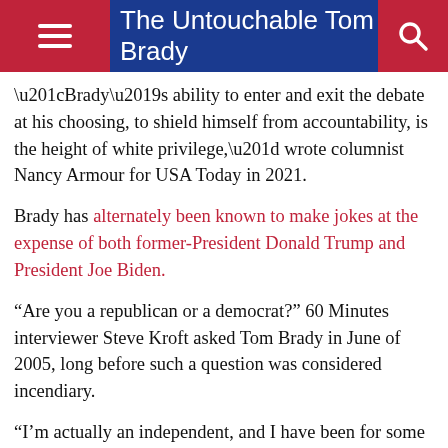The Untouchable Tom Brady
“Brady’s ability to enter and exit the debate at his choosing, to shield himself from accountability, is the height of white privilege,” wrote columnist Nancy Armour for USA Today in 2021.
Brady has alternately been known to make jokes at the expense of both former-President Donald Trump and President Joe Biden.
“Are you a republican or a democrat?” 60 Minutes interviewer Steve Kroft asked Tom Brady in June of 2005, long before such a question was considered incendiary.
“I’m actually an independent, and I have been for some time,” Brady answered. “There’s no doubt this world needs a lot of help.”
“You gonna run for office some day?” Kroft followed up. “Something you consider?”
“So much of my attention now is focused on playing ball, and I like to do that,” Brady answered. “And if that chance does come up, and I’m still interested in it, I mean it would be something that I